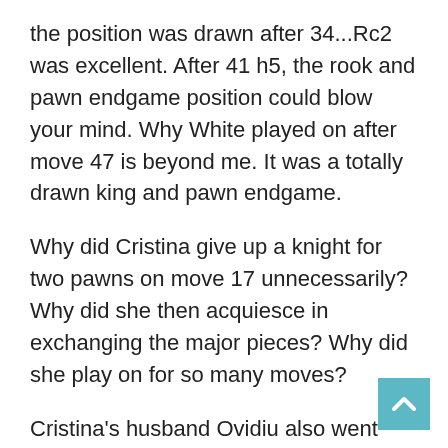the position was drawn after 34...Rc2 was excellent. After 41 h5, the rook and pawn endgame position could blow your mind. Why White played on after move 47 is beyond me. It was a totally drawn king and pawn endgame.
Why did Cristina give up a knight for two pawns on move 17 unnecessarily? Why did she then acquiesce in exchanging the major pieces? Why did she play on for so many moves?
Cristina's husband Ovidiu also went badly wrong, this time with the black pieces. But Jacek Tomczak took advantage of the position clinically.
At least Veronica Foisor managed a draw. I was surprised at the decision by Johannes Kvisla of